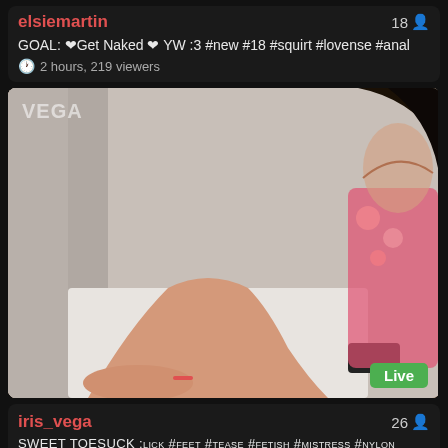elsiemartin
18
GOAL: ❤Get Naked ❤ YW :3 #new #18 #squirt #lovense #anal
2 hours, 219 viewers
[Figure (photo): Live stream screenshot showing a young woman in a floral dress sitting on a white surface with legs extended, watermark VEGA visible top left, Live badge bottom right]
iris_vega
26
SWEET TOESUCK :lick #feet #tease #fetish #mistress #nylon